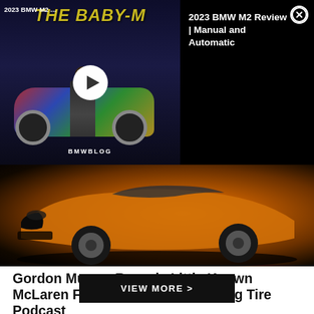[Figure (screenshot): Video overlay showing 2023 BMW M2 'The Baby-M' thumbnail with person standing in front of colorful BMW M2, play button, and BMWBLOG watermark. Right panel shows black background with title '2023 BMW M2 Review | Manual and Automatic' and close button.]
[Figure (photo): Orange/gold McLaren F1 supercar photographed from front-left angle against dark gradient background, showing front bumper intakes, wheels and headlights.]
Gordon Murray Reveals Little Known McLaren F1 Details In The Smoking Tire Podcast
By Nico DeMattia Date: August 18, 2022
VIEW MORE >